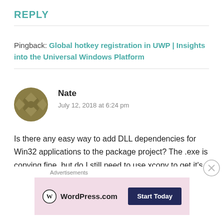REPLY
Pingback: Global hotkey registration in UWP | Insights into the Universal Windows Platform
Nate
July 12, 2018 at 6:24 pm
Is there any easy way to add DLL dependencies for Win32 applications to the package project? The .exe is copying fine, but do I still need to use xcopy to get it's DLL dependencies?
Advertisements
WordPress.com  Start Today